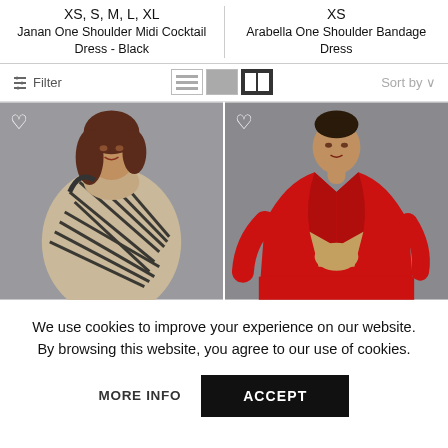XS, S, M, L, XL
Janan One Shoulder Midi Cocktail Dress - Black
XS
Arabella One Shoulder Bandage Dress
[Figure (screenshot): E-commerce filter bar with list/grid view toggle icons and Sort by dropdown]
[Figure (photo): Model wearing a beige and black striped one-shoulder midi cocktail dress against a gray background]
[Figure (photo): Model wearing a red satin blazer with matching red outfit against a gray background]
We use cookies to improve your experience on our website. By browsing this website, you agree to our use of cookies.
MORE INFO
ACCEPT